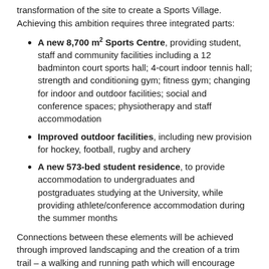transformation of the site to create a Sports Village. Achieving this ambition requires three integrated parts:
A new 8,700 m² Sports Centre, providing student, staff and community facilities including a 12 badminton court sports hall; 4-court indoor tennis hall; strength and conditioning gym; fitness gym; changing for indoor and outdoor facilities; social and conference spaces; physiotherapy and staff accommodation
Improved outdoor facilities, including new provision for hockey, football, rugby and archery
A new 573-bed student residence, to provide accommodation to undergraduates and postgraduates studying at the University, while providing athlete/conference accommodation during the summer months
Connections between these elements will be achieved through improved landscaping and the creation of a trim trail – a walking and running path which will encourage walking and running.